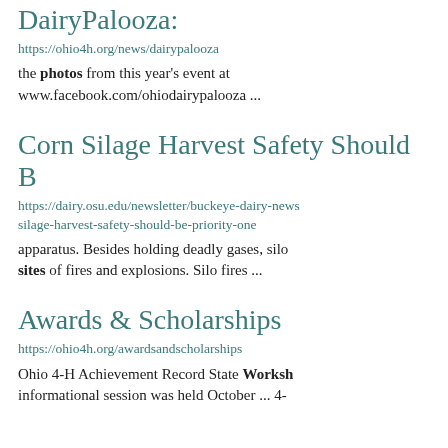DairyPalooza:
https://ohio4h.org/news/dairypalooza
the photos from this year's event at www.facebook.com/ohiodairypalooza ...
Corn Silage Harvest Safety Should Be
https://dairy.osu.edu/newsletter/buckeye-dairy-news silage-harvest-safety-should-be-priority-one
apparatus. Besides holding deadly gases, silo sites of fires and explosions. Silo fires ...
Awards & Scholarships
https://ohio4h.org/awardsandscholarships
Ohio 4-H Achievement Record State Worksh informational session was held October ... 4-